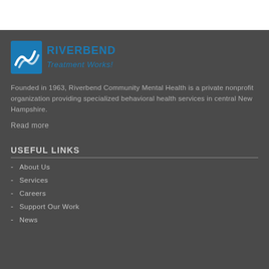[Figure (logo): Riverbend Treatment Works! logo with blue wave/arrow icon and blue text]
Founded in 1963, Riverbend Community Mental Health is a private nonprofit organization providing specialized behavioral health services in central New Hampshire.
Read more
USEFUL LINKS
- About Us
- Services
- Careers
- Support Our Work
- News